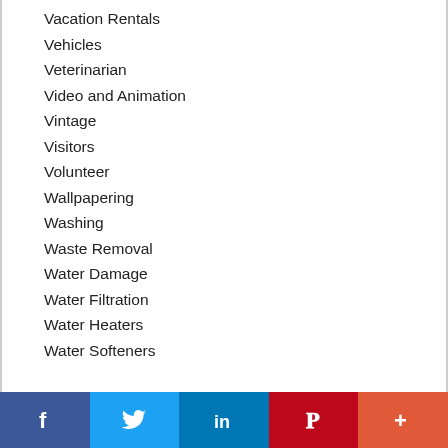Vacation Rentals
Vehicles
Veterinarian
Video and Animation
Vintage
Visitors
Volunteer
Wallpapering
Washing
Waste Removal
Water Damage
Water Filtration
Water Heaters
Water Softeners
f  Twitter  in  P  +